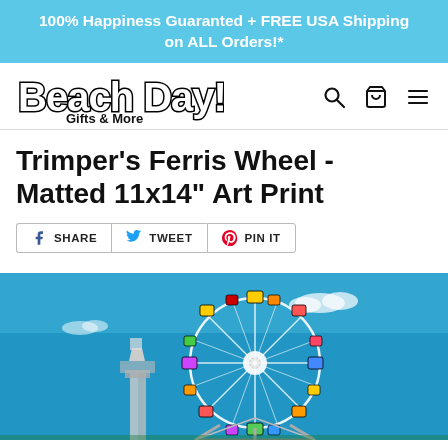100% Happiness Guaranted + FREE USA Shipping on ALL Orders!*
[Figure (logo): Beach Day! Gifts & More logo with bubble-style lettering]
Trimper's Ferris Wheel - Matted 11x14" Art Print
SHARE  TWEET  PIN IT
[Figure (photo): Photograph of Trimper's Ferris Wheel against a bright blue sky, with colorful gondolas visible around the wheel]